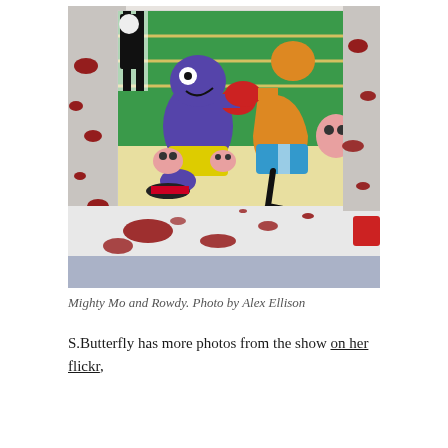[Figure (photo): A colorful cartoon-style painting depicting two anthropomorphic boxing characters — a purple monster and an orange figure — in a boxing ring with monster audience members, displayed on a wall spattered with red and blue paint, with a red bucket visible in the corner.]
Mighty Mo and Rowdy. Photo by Alex Ellison
S.Butterfly has more photos from the show on her flickr,